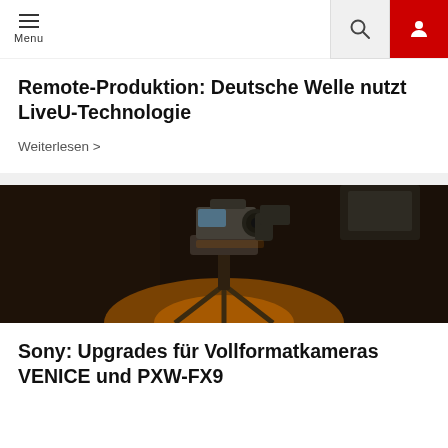Menu (navigation bar with search and user icons)
Remote-Produktion: Deutsche Welle nutzt LiveU-Technologie
Weiterlesen >
[Figure (photo): Professional cinema camera (Sony VENICE or similar) mounted on a tripod in a dark studio environment with orange ambient lighting from below]
Sony: Upgrades für Vollformatkameras VENICE und PXW-FX9